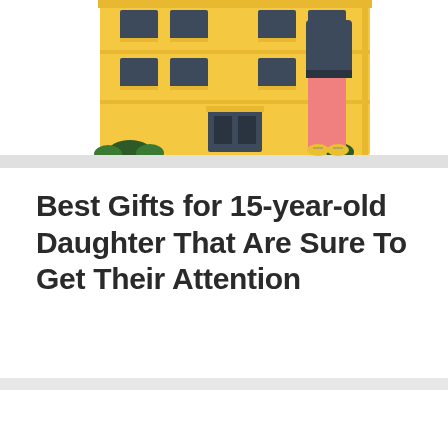[Figure (illustration): Illustration of a school building (yellow, multi-story) with a person standing in front wearing pink pants and yellow shoes, with a grey pathway leading to the entrance. Partially cropped at top.]
Best Gifts for 15-year-old Daughter That Are Sure To Get Their Attention